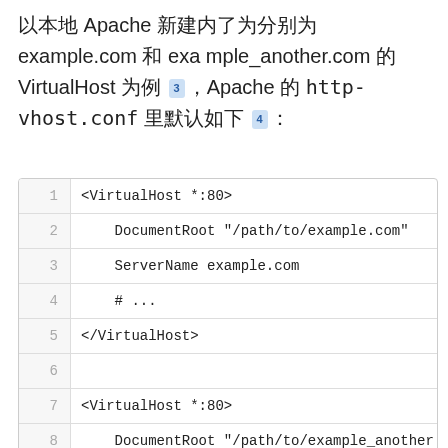以本地 Apache 新建内了为分别为 example.com 和 example_another.com 的 VirtualHost 为例 [3], Apache 的 http-vhost.conf 里默认如下 [4]：
1  <VirtualHost *:80>
2      DocumentRoot "/path/to/example.com"
3      ServerName example.com
4      # ...
5  </VirtualHost>
6  
7  <VirtualHost *:80>
8      DocumentRoot "/path/to/example_another.
9      ServerName example_another.com
10     # ...
11 </VirtualHost>